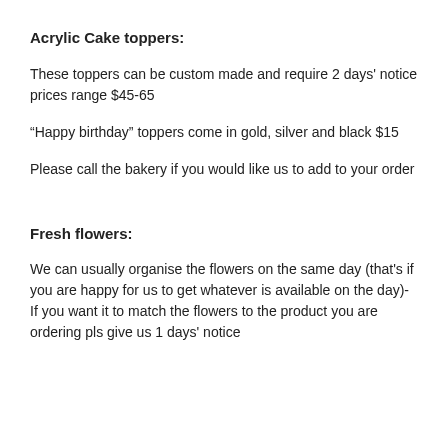Acrylic Cake toppers:
These toppers can be custom made and require 2 days' notice prices range $45-65
“Happy birthday” toppers come in gold, silver and black $15
Please call the bakery if you would like us to add to your order
Fresh flowers:
We can usually organise the flowers on the same day (that's if you are happy for us to get whatever is available on the day)- If you want it to match the flowers to the product you are ordering pls give us 1 days' notice